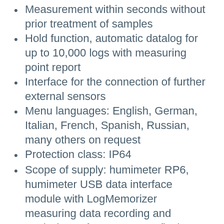Measurement within seconds without prior treatment of samples
Hold function, automatic datalog for up to 10,000 logs with measuring point report
Interface for the connection of further external sensors
Menu languages: English, German, Italian, French, Spanish, Russian, many others on request
Protection class: IP64
Scope of supply: humimeter RP6, humimeter USB data interface module with LogMemorizer measuring data recording and analysing software on USB flash drive incl. USB cable for PC, rechargeable batteries (Li-Ion